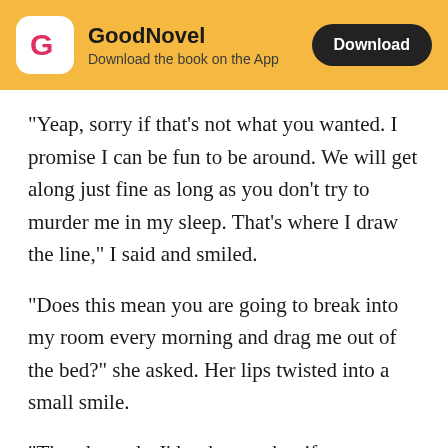GoodNovel — Download the book on the App
"Yeap, sorry if that's not what you wanted. I promise I can be fun to be around. We will get along just fine as long as you don't try to murder me in my sleep. That's where I draw the line," I said and smiled.
"Does this mean you are going to break into my room every morning and drag me out of the bed?" she asked. Her lips twisted into a small smile.
"That depends. I'd rather not but if you act stubborn, lifting you off of the bed might become